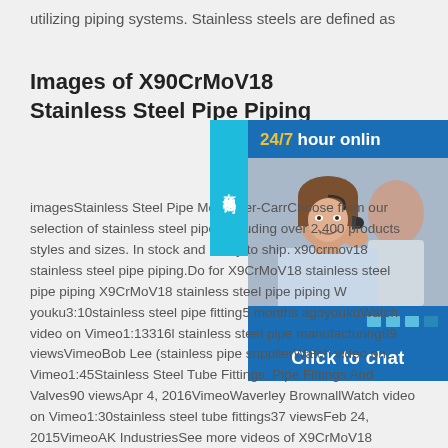utilizing piping systems. Stainless steels are defined as
Images of X90CrMoV18 Stainless Steel Pipe Piping
[Figure (photo): Chat widget with woman wearing headset smiling, blue background with '24/7 hour online' header, dots, and 'Click to chat' button. Side tab in cyan reads '在线咨询'.]
imagesStainless Steel Pipe McMaster-CarrChoose from our selection of stainless steel pipe, including over 2,400 products styles and sizes. In stock and ready to ship. x90crmov18 stainless steel pipe piping.Do for X9CrMoV18 stainless steel pipe piping X9CrMoV18 stainless steel pipe piping W youku3:10stainless steel pipe fitting5 months agoyoukuWatch video on Vimeo1:13316l stainless steel pipe manufacturing89 viewsVimeoBob Lee (stainless pipe supplierWatch video on Vimeo1:45Stainless Steel Tube Fittings, Pipe Fittings And Valves90 viewsApr 4, 2016VimeoWaverley BrownallWatch video on Vimeo1:30stainless steel tube fittings37 viewsFeb 24, 2015VimeoAK IndustriesSee more videos of X9CrMoV18